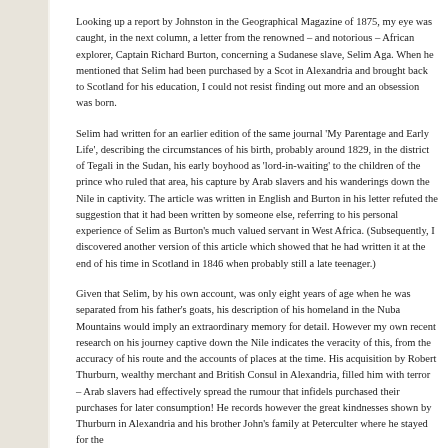Looking up a report by Johnston in the Geographical Magazine of 1875, my eye was caught, in the next column, a letter from the renowned – and notorious – African explorer, Captain Richard Burton, concerning a Sudanese slave, Selim Aga. When he mentioned that Selim had been purchased by a Scot in Alexandria and brought back to Scotland for his education, I could not resist finding out more and an obsession was born.
Selim had written for an earlier edition of the same journal 'My Parentage and Early Life', describing the circumstances of his birth, probably around 1829, in the district of Tegali in the Sudan, his early boyhood as 'lord-in-waiting' to the children of the prince who ruled that area, his capture by Arab slavers and his wanderings down the Nile in captivity. The article was written in English and Burton in his letter refuted the suggestion that it had been written by someone else, referring to his personal experience of Selim as Burton's much valued servant in West Africa. (Subsequently, I discovered another version of this article which showed that he had written it at the end of his time in Scotland in 1846 when probably still a late teenager.)
Given that Selim, by his own account, was only eight years of age when he was separated from his father's goats, his description of his homeland in the Nuba Mountains would imply an extraordinary memory for detail. However my own recent research on his journey captive down the Nile indicates the veracity of this, from the accuracy of his route and the accounts of places at the time. His acquisition by Robert Thurburn, wealthy merchant and British Consul in Alexandria, filled him with terror – Arab slavers had effectively spread the rumour that infidels purchased their purchases for later consumption! He records however the great kindnesses shown by Thurburn in Alexandria and his brother John's family at Peterculter where he stayed for the...
Burton had said that Selim had received his education at 'Murtho' in Aberdeens...